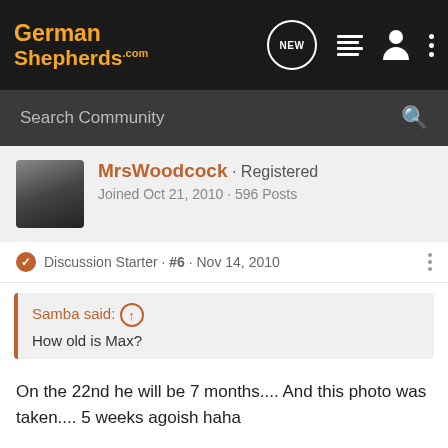GermanShepherds.com
Search Community
MrsWoodcock · Registered
Joined Oct 21, 2010 · 596 Posts
Discussion Starter · #6 · Nov 14, 2010
Samba said: ↑
How old is Max?
On the 22nd he will be 7 months.... And this photo was taken.... 5 weeks agoish haha
~*Nicole*~
Ruby~ Black&Tan GSD (8/15/09)